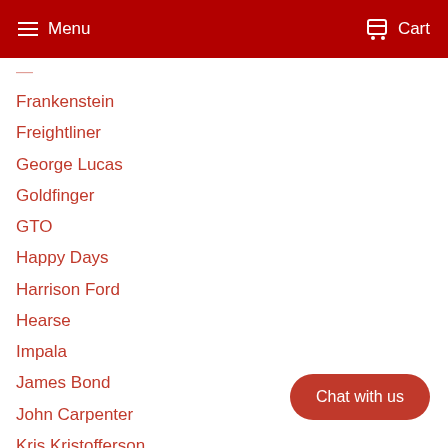Menu  Cart
Frankenstein
Freightliner
George Lucas
Goldfinger
GTO
Happy Days
Harrison Ford
Hearse
Impala
James Bond
John Carpenter
Kris Kristofferson
Kurt Russell
LaSalle
Mack
Chat with us